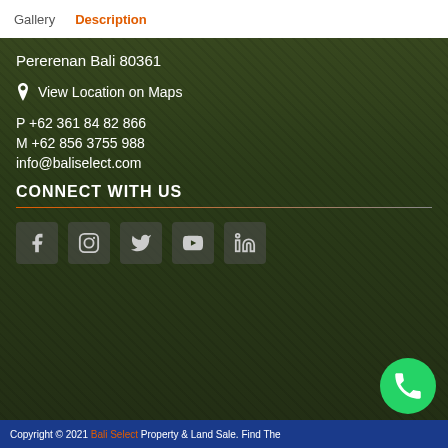Gallery  Description
Pererenan Bali 80361
📍 View Location on Maps
P +62 361 84 82 866
M +62 856 3755 988
info@baliselect.com
CONNECT WITH US
[Figure (other): Social media icons: Facebook, Instagram, Twitter, YouTube, LinkedIn]
[Figure (other): WhatsApp contact button (green circle with phone icon)]
Copyright © 2021 Bali Select Property & Land Sale. Find The